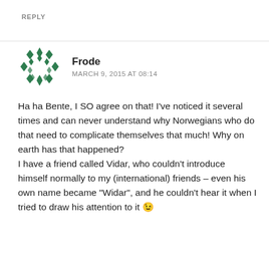REPLY
[Figure (illustration): Green decorative circular avatar icon made of diamond/leaf shapes arranged in a ring pattern]
Frode
MARCH 9, 2015 AT 08:14
Ha ha Bente, I SO agree on that! I’ve noticed it several times and can never understand why Norwegians who do that need to complicate themselves that much! Why on earth has that happened?
I have a friend called Vidar, who couldn’t introduce himself normally to my (international) friends – even his own name became “Widar”, and he couldn’t hear it when I tried to draw his attention to it 😉